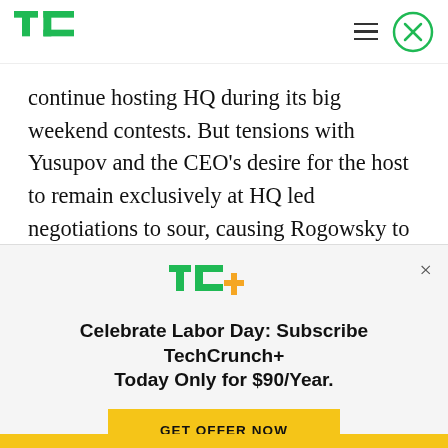TechCrunch logo, hamburger menu, close button
continue hosting HQ during its big weekend contests. But tensions with Yusupov and the CEO's desire for the host to remain exclusively at HQ led negotiations to sour, causing Rogowsky to leave the startup entirely. TechCrunch was first to report that he's been replaced by former HQ guest host Matt Richards, whom Yusupov bluntly told me
TC+
Celebrate Labor Day: Subscribe TechCrunch+ Today Only for $90/Year.
GET OFFER NOW